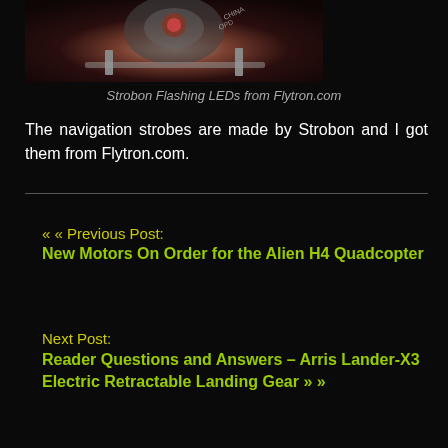[Figure (photo): Close-up photo of Strobon Flashing LEDs product from Flytron.com, showing metallic components with red accents on a light background]
Strobon Flashing LEDs from Flytron.com
The navigation strobes are made by Strobon and I got them from Flytron.com.
« « Previous Post:
New Motors On Order for the Alien H4 Quadcopter
Next Post:
Reader Questions and Answers – Arris Lander-X3 Electric Retractable Landing Gear » »